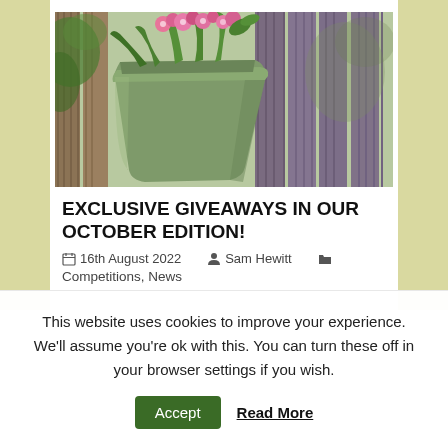[Figure (photo): Green hanging planter with pink flowers mounted on a wooden fence, garden background with blurred foliage.]
EXCLUSIVE GIVEAWAYS IN OUR OCTOBER EDITION!
16th August 2022   Sam Hewitt   Competitions, News
This website uses cookies to improve your experience. We'll assume you're ok with this. You can turn these off in your browser settings if you wish.